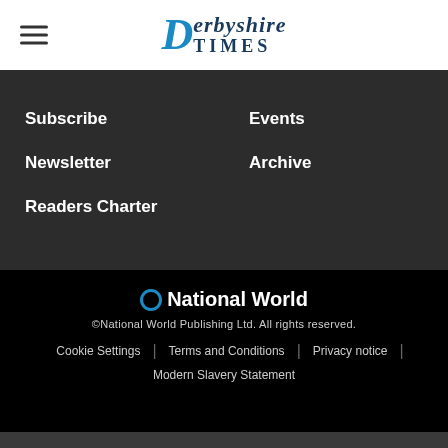Derbyshire Times
Subscribe
Newsletter
Readers Charter
Events
Archive
National World
©National World Publishing Ltd. All rights reserved.
Cookie Settings | Terms and Conditions | Privacy notice |
Modern Slavery Statement